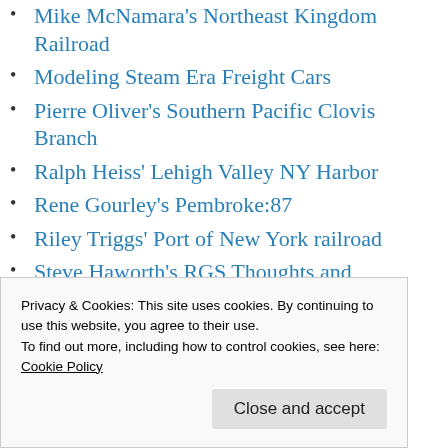Mike McNamara's Northeast Kingdom Railroad
Modeling Steam Era Freight Cars
Pierre Oliver's Southern Pacific Clovis Branch
Ralph Heiss' Lehigh Valley NY Harbor
Rene Gourley's Pembroke:87
Riley Triggs' Port of New York railroad
Steve Haworth's RGS Thoughts and Mutterings
Ted Culotta's Prototype Railroad Topics
Tom Patterson's Chesapeake, Wheeling &
Privacy & Cookies: This site uses cookies. By continuing to use this website, you agree to their use.
To find out more, including how to control cookies, see here:
Cookie Policy
Close and accept